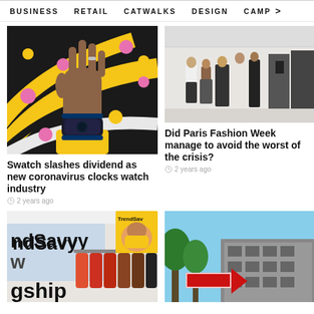BUSINESS   RETAIL   CATWALKS   DESIGN   CAMP >
[Figure (photo): Close-up of a hand raised against a colorful polka-dot mural background, wearing a dark blue watch and yellow sleeve]
Swatch slashes dividend as new coronavirus clocks watch industry
2 years ago
[Figure (photo): People walking in a fashion show exhibition hall or trade fair with garments and stands visible]
Did Paris Fashion Week manage to avoid the worst of the crisis?
2 years ago
[Figure (photo): A retail store or trade show booth showing TrendSavy branding, racks of colorful puffer jackets and a magazine cover]
[Figure (photo): Outdoor shot of a building with a large red arrow sign and trees against a blue sky]